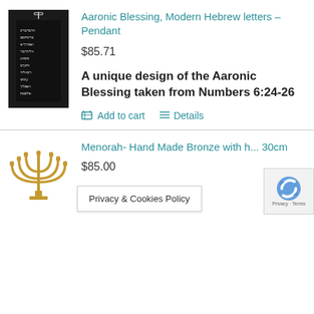[Figure (photo): Black pendant necklace with Hebrew letters arranged in rows, displayed on dark background]
Aaronic Blessing, Modern Hebrew letters – Pendant
$85.71
A unique design of the Aaronic Blessing taken from Numbers 6:24-26
Add to cart   Details
[Figure (photo): Gold/bronze menorah with seven branches]
Menorah- Hand Made Bronze with h... 30cm
$85.00
Privacy & Cookies Policy